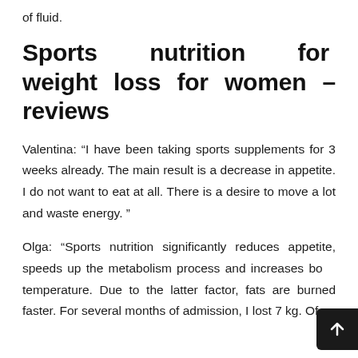of fluid.
Sports nutrition for weight loss for women – reviews
Valentina: “I have been taking sports supplements for 3 weeks already. The main result is a decrease in appetite. I do not want to eat at all. There is a desire to move a lot and waste energy.”
Olga: “Sports nutrition significantly reduces appetite, speeds up the metabolism process and increases body temperature. Due to the latter factor, fats are burned faster. For several months of admission, I lost 7 kg. Of